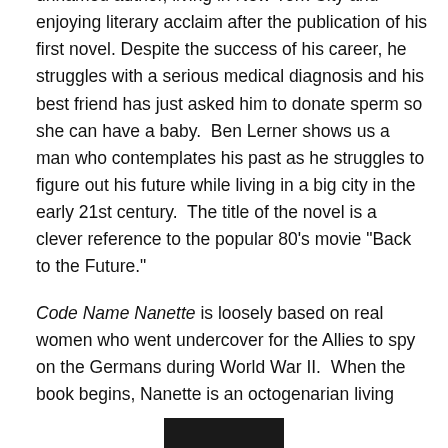unnamed author, living in New York City and enjoying literary acclaim after the publication of his first novel. Despite the success of his career, he struggles with a serious medical diagnosis and his best friend has just asked him to donate sperm so she can have a baby. Ben Lerner shows us a man who contemplates his past as he struggles to figure out his future while living in a big city in the early 21st century. The title of the novel is a clever reference to the popular 80’s movie “Back to the Future.”
Code Name Nanette is loosely based on real women who went undercover for the Allies to spy on the Germans during World War II. When the book begins, Nanette is an octogenarian living
[Figure (photo): Partially visible dark image at the bottom center of the page, appears to be a book cover or photograph, mostly cut off.]